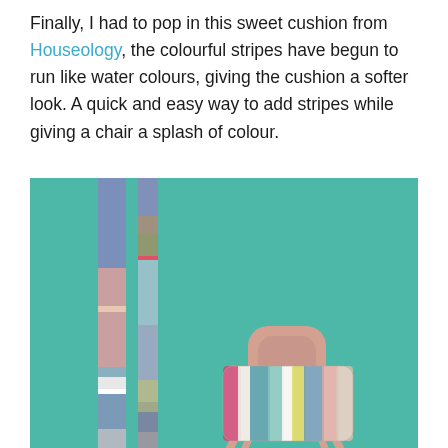Finally, I had to pop in this sweet cushion from Houseology, the colourful stripes have begun to run like water colours, giving the cushion a softer look. A quick and easy way to add stripes while giving a chair a splash of colour.
[Figure (photo): A pink chair with a striped watercolour cushion placed on it, set against a teal/turquoise painted brick wall. Two vertical striped paint sample strips hang on the left side of the wall.]